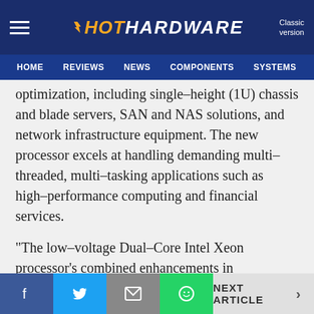HotHardware - Classic version
HOME | REVIEWS | NEWS | COMPONENTS | SYSTEMS | IT/EN
optimization, including single–height (1U) chassis and blade servers, SAN and NAS solutions, and network infrastructure equipment. The new processor excels at handling demanding multi–threaded, multi–tasking applications such as high–performance computing and financial services.
"The low–voltage Dual–Core Intel Xeon processor's combined enhancements in performance and energy efficiency, along with the efficient power and cooling design of IBM's industry–leading BladeCenter*, deliver a leadership integer performance–per–watt solution," said Doug Balog, vice president and business line executive
f | tweet | email | whatsapp | NEXT ARTICLE >